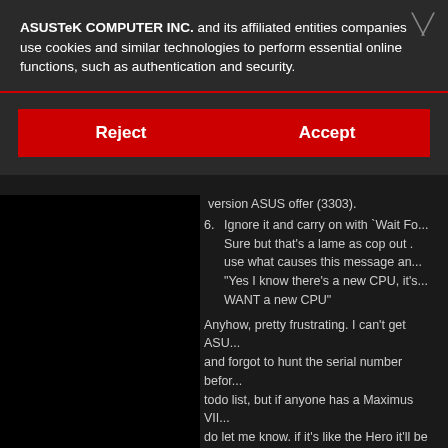ASUSTeK COMPUTER INC. and its affiliated entities companies use cookies and similar technologies to perform essential online functions, such as authentication and security.
Reject
Accept
version ASUS offer (3303).
6. Ignore it and carry on with `Wait Fo... Sure but that's a lame as cop out . use what causes this message and "Yes I know there's a new CPU, it's WANT a new CPU"
Anyhow, pretty frustrating. I can't get ASU... and forgot to hunt the serial number befor... todo list, but if anyone has a Maximus VII... do let me know. if it's like the Hero it'll be slots (hard to read on the Formula becaus... hides the CMOS battery - if anyone know... can't find it in the manual)
I do have 8 pin CPU power supply and th... a suitable cable from the PSU for that an... only had the 8 pins, while the Formula ha... for CPU power. There's a slim (barely cre... makes it happy (hard to believeee e) it'l...